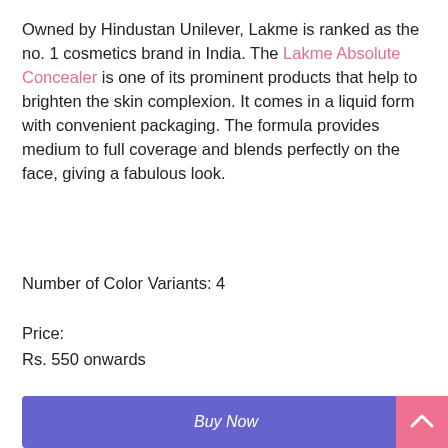Owned by Hindustan Unilever, Lakme is ranked as the no. 1 cosmetics brand in India. The Lakme Absolute Concealer is one of its prominent products that help to brighten the skin complexion. It comes in a liquid form with convenient packaging. The formula provides medium to full coverage and blends perfectly on the face, giving a fabulous look.
Number of Color Variants: 4
Price:
Rs. 550 onwards